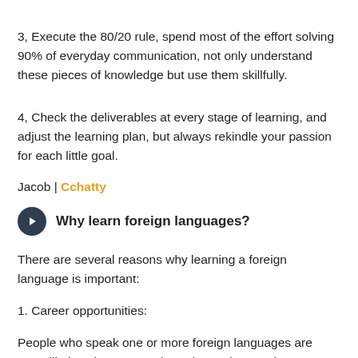3, Execute the 80/20 rule, spend most of the effort solving 90% of everyday communication, not only understand these pieces of knowledge but use them skillfully.
4, Check the deliverables at every stage of learning, and adjust the learning plan, but always rekindle your passion for each little goal.
Jacob | Cchatty
Why learn foreign languages?
There are several reasons why learning a foreign language is important:
1. Career opportunities:
People who speak one or more foreign languages are more likely to be promoted or relocated to another country. The latter may in